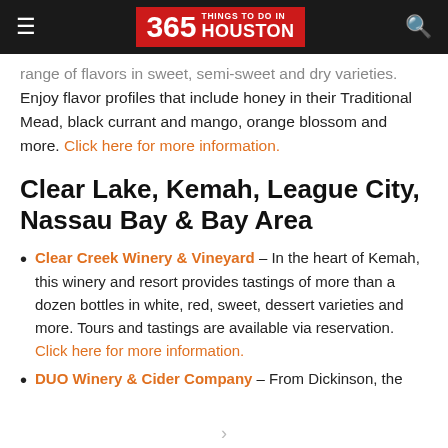365 THINGS TO DO IN HOUSTON
range of flavors in sweet, semi-sweet and dry varieties. Enjoy flavor profiles that include honey in their Traditional Mead, black currant and mango, orange blossom and more. Click here for more information.
Clear Lake, Kemah, League City, Nassau Bay & Bay Area
Clear Creek Winery & Vineyard – In the heart of Kemah, this winery and resort provides tastings of more than a dozen bottles in white, red, sweet, dessert varieties and more. Tours and tastings are available via reservation. Click here for more information.
DUO Winery & Cider Company – From Dickinson, the